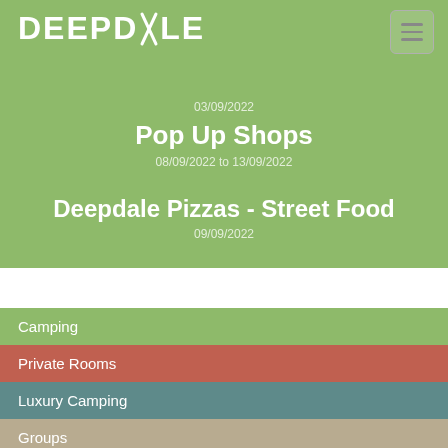[Figure (logo): Deepdale logo in white text on green background]
03/09/2022
Pop Up Shops
08/09/2022 to 13/09/2022
Deepdale Pizzas - Street Food
09/09/2022
Camping
Private Rooms
Luxury Camping
Groups
Visitor Information Centre
Booking Form